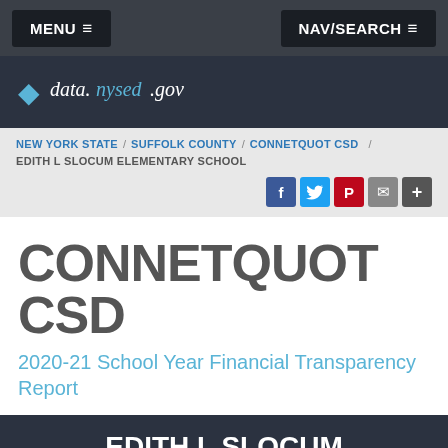MENU ≡   NAV/SEARCH ≡
[Figure (logo): data.nysed.gov New York State Education Department logo]
NEW YORK STATE / SUFFOLK COUNTY / CONNETQUOT CSD / EDITH L SLOCUM ELEMENTARY SCHOOL
CONNETQUOT CSD
2020-21 School Year Financial Transparency Report
EDITH L SLOCUM ELEMENTARY SCHOOL